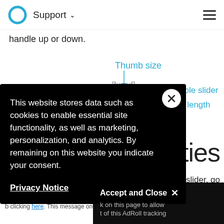Support
handle up or down.
[Figure (illustration): Slider diagram showing 'Thumb size' label pointing down to the slider thumb, 'Whole slider' label pointing left, and 'ack length' (Track length) label visible. A slider UI element with a blue circular thumb is shown.]
Track thi... (Track thickness partial)
ties (partial section heading)
e slider, go (partial text)
This website stores data such as cookies to enable essential site functionality, as well as marketing, personalization, and analytics. By remaining on this website you indicate your consent.
Privacy Notice
Accept and Close ×
k on this page to allow t of this AdRoll tracking
Y A b clicking here. This message only appears once.